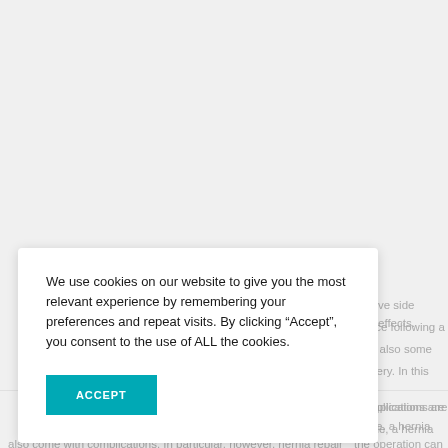ve side effects. rience following a e also some urgery. In this
We use cookies on our website to give you the most relevant experience by remembering your preferences and repeat visits. By clicking “Accept”, you consent to the use of ALL the cookies.
ACCEPT
complications are ple, a hernia the operation can
also come with complications. In particular, however, hernia repair